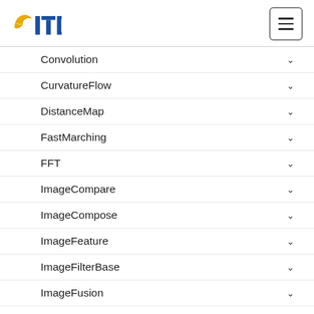ITK logo and menu button
Convolution
CurvatureFlow
DistanceMap
FastMarching
FFT
ImageCompare
ImageCompose
ImageFeature
ImageFilterBase
ImageFusion
ImageGradient
ImageGrid
ImageIntensity